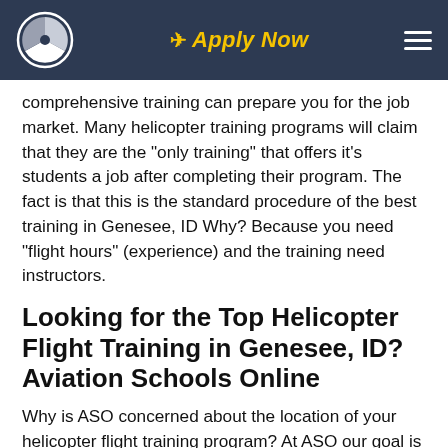Apply Now
comprehensive training can prepare you for the job market. Many helicopter training programs will claim that they are the "only training" that offers it's students a job after completing their program.  The fact is that this is the standard procedure of the best training in Genesee, ID  Why?  Because you need "flight hours" (experience) and the training need instructors.
Looking for the Top Helicopter Flight Training in Genesee, ID? Aviation Schools Online
Why is ASO concerned about the location of your helicopter flight training program? At ASO our goal is to be the best helicopter training program option for career-minded student pilots coming from Genesee, ID.